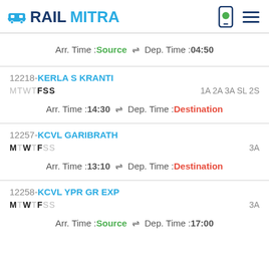RAILMITRA
Arr. Time :Source ⇌ Dep. Time :04:50
12218-KERLA S KRANTI MTWTFSS 1A 2A 3A SL 2S Arr. Time :14:30 ⇌ Dep. Time :Destination
12257-KCVL GARIBRATH MTWTFSS 3A Arr. Time :13:10 ⇌ Dep. Time :Destination
12258-KCVL YPR GR EXP MTWTFSS 3A Arr. Time :Source ⇌ Dep. Time :17:00